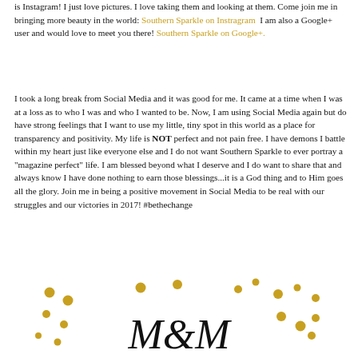is Instagram!  I just love pictures.  I love taking them and looking at them.  Come join me in bringing more beauty in the world: Southern Sparkle on Instragram  I am also a Google+ user and would love to meet you there! Southern Sparkle on Google+.
I took a long break from Social Media and it was good for me.  It came at a time when I was at a loss as to who I was and who I wanted to be.  Now, I am using Social Media again but do have strong feelings that I want to use my little, tiny spot in this world as a place for transparency and positivity.  My life is NOT perfect and not pain free.  I have demons I battle within my heart just like everyone else and I do not want Southern Sparkle to ever portray a "magazine perfect" life.   I am blessed beyond what I deserve and I do want to share that and always know I have done nothing to earn those blessings...it is a God thing and to Him goes all the glory.  Join me in being a positive movement in Social Media to be real with our struggles and our victories in 2017! #bethechange
[Figure (illustration): Decorative signature area with scattered gold dots and a cursive signature beginning with 'M' and 'W' or similar script lettering]